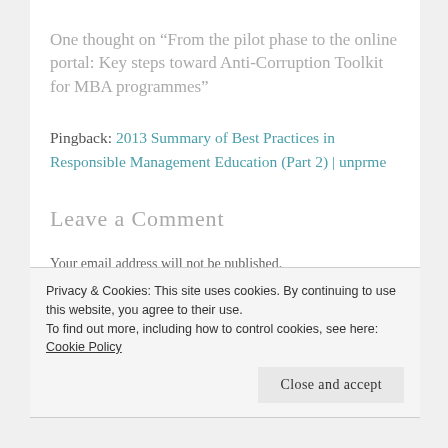One thought on “From the pilot phase to the online portal: Key steps toward Anti-Corruption Toolkit for MBA programmes”
Pingback: 2013 Summary of Best Practices in Responsible Management Education (Part 2) | unprme
Leave a Comment
Your email address will not be published.
Privacy & Cookies: This site uses cookies. By continuing to use this website, you agree to their use.
To find out more, including how to control cookies, see here: Cookie Policy